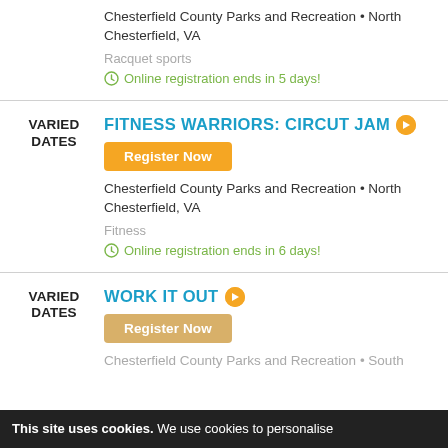Chesterfield County Parks and Recreation • North Chesterfield, VA
Racquet sports
Online registration ends in 5 days!
FITNESS WARRIORS: CIRCUT JAM
Register Now
Chesterfield County Parks and Recreation • North Chesterfield, VA
Fitness
Online registration ends in 6 days!
WORK IT OUT
Register Now
Chesterfield County Parks and Recreation • South
This site uses cookies. We use cookies to personalise